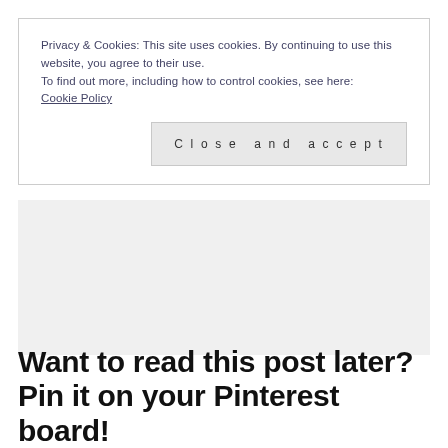Privacy & Cookies: This site uses cookies. By continuing to use this website, you agree to their use.
To find out more, including how to control cookies, see here:
Cookie Policy
Close and accept
[Figure (other): Gray placeholder rectangle representing an image or content area]
Want to read this post later? Pin it on your Pinterest board!